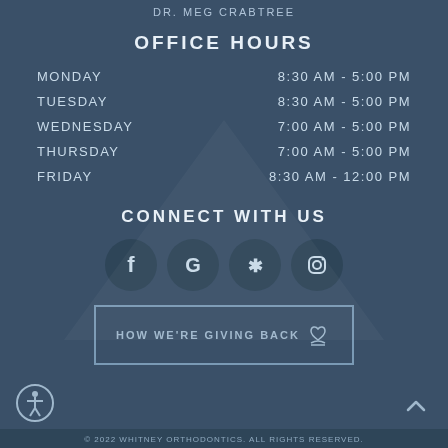DR. MEG CRABTREE
OFFICE HOURS
| Day | Hours |
| --- | --- |
| MONDAY | 8:30 AM - 5:00 PM |
| TUESDAY | 8:30 AM - 5:00 PM |
| WEDNESDAY | 7:00 AM - 5:00 PM |
| THURSDAY | 7:00 AM - 5:00 PM |
| FRIDAY | 8:30 AM - 12:00 PM |
CONNECT WITH US
[Figure (infographic): Four social media icon buttons: Facebook, Google, Yelp, Instagram]
HOW WE'RE GIVING BACK
© 2022 WHITNEY ORTHODONTICS. ALL RIGHTS RESERVED.